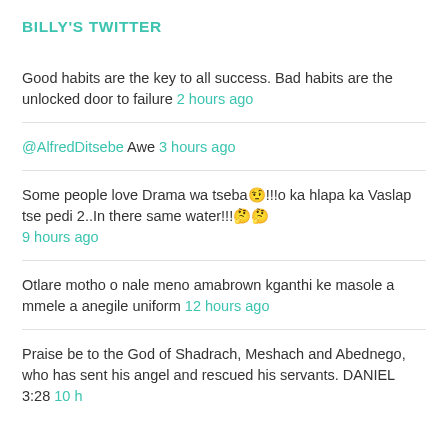BILLY'S TWITTER
Good habits are the key to all success. Bad habits are the unlocked door to failure 2 hours ago
@AlfredDitsebe Awe 3 hours ago
Some people love Drama wa tseba🤨!!!o ka hlapa ka Vaslap tse pedi 2..In there same water!!!🤔🤔 9 hours ago
Otlare motho o nale meno amabrown kganthi ke masole a mmele a anegile uniform 12 hours ago
Praise be to the God of Shadrach, Meshach and Abednego, who has sent his angel and rescued his servants. DANIEL 3:28 10 h